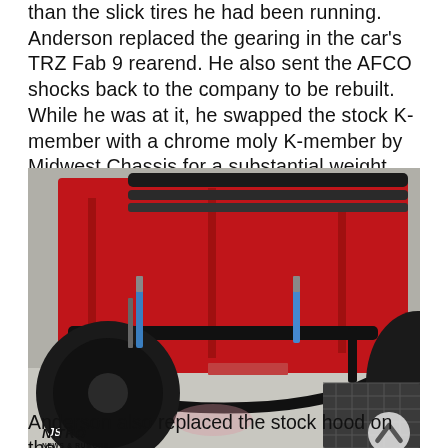than the slick tires he had been running. Anderson replaced the gearing in the car's TRZ Fab 9 rearend. He also sent the AFCO shocks back to the company to be rebuilt. While he was at it, he swapped the stock K-member with a chrome moly K-member by Midwest Chassis for a substantial weight savings.
[Figure (photo): Underside view of a red drag racing car on a track surface, showing chrome moly K-member, suspension components, AFCO shocks (blue), black anti-roll bar, and black wheels with drag racing tires. A diamond-plate metal ramp is visible on the right side. NITRO News & Rumors watermark in the lower left corner.]
Anderson also replaced the stock hood on the